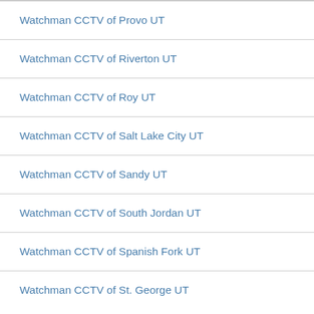Watchman CCTV of Provo UT
Watchman CCTV of Riverton UT
Watchman CCTV of Roy UT
Watchman CCTV of Salt Lake City UT
Watchman CCTV of Sandy UT
Watchman CCTV of South Jordan UT
Watchman CCTV of Spanish Fork UT
Watchman CCTV of St. George UT